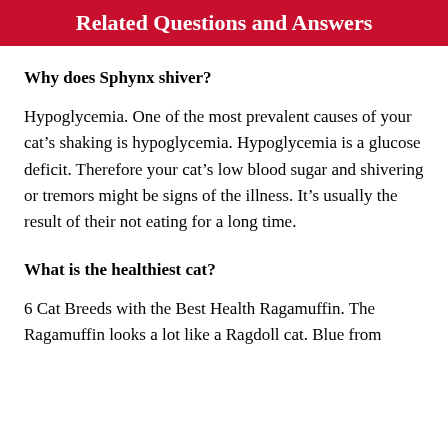Related Questions and Answers
Why does Sphynx shiver?
Hypoglycemia. One of the most prevalent causes of your cat’s shaking is hypoglycemia. Hypoglycemia is a glucose deficit. Therefore your cat’s low blood sugar and shivering or tremors might be signs of the illness. It’s usually the result of their not eating for a long time.
What is the healthiest cat?
6 Cat Breeds with the Best Health Ragamuffin. The Ragamuffin looks a lot like a Ragdoll cat. Blue from